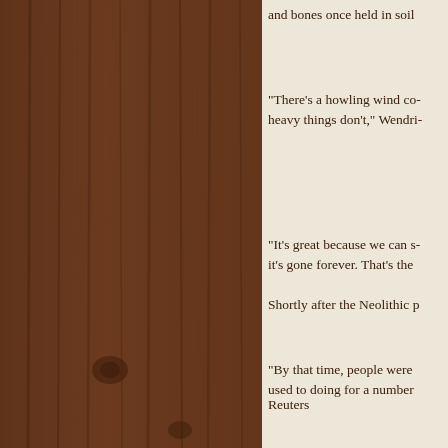[Figure (photo): Left portion of the page showing a dark brown wood panel with vertical grain texture, occupying the left roughly 58% of the page.]
and bones once held in soil
"There's a howling wind co- heavy things don't," Wendri-
"It's great because we can s- it's gone forever. That's the
Shortly after the Neolithic p
"By that time, people were used to doing for a number
Reuters